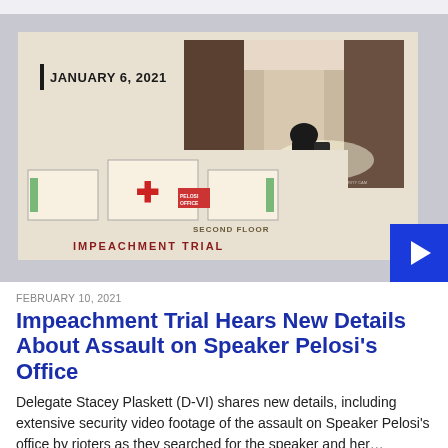[Figure (screenshot): Video thumbnail showing January 6, 2021 impeachment trial footage. Left portion shows a floor plan diagram of the Second Floor with white rectangular boxes and a red cross symbol. Right portion shows security camera footage of a hallway with a person crouching. A blue play button is in the bottom-right corner. Text overlays read 'JANUARY 6, 2021', 'SECOND FLOOR', and 'IMPEACHMENT TRIAL'.]
FEBRUARY 10, 2021
Impeachment Trial Hears New Details About Assault on Speaker Pelosi’s Office
Delegate Stacey Plaskett (D-VI) shares new details, including extensive security video footage of the assault on Speaker Pelosi’s office by rioters as they searched for the speaker and her…